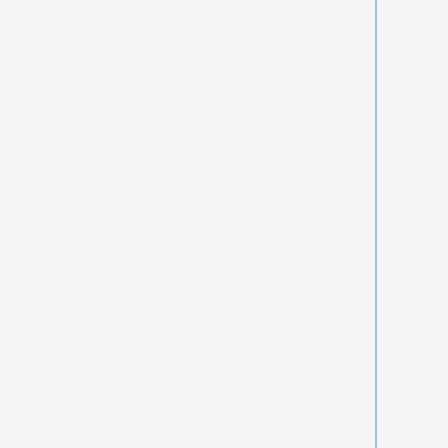well
17:56 bstorm_: updated tools-k8s-control-1 to the new control plane configuration
17:47 bstorm_: edited kubeadm-config configMap object to match the new init config
17:32 bstorm_: rebooting tools-k8s-control-2 to correct mount issue
00:45 bstorm_: rebooting tools-static-13
00:28 bstorm_: rebooting the k8s master to clear NFS errors
00:15 bstorm_: switch tools-acme-chief config to match the new authdns_servers format upstream
2019-12-12
23:36 bstorm_: rebooting toolschecker after downtiming the